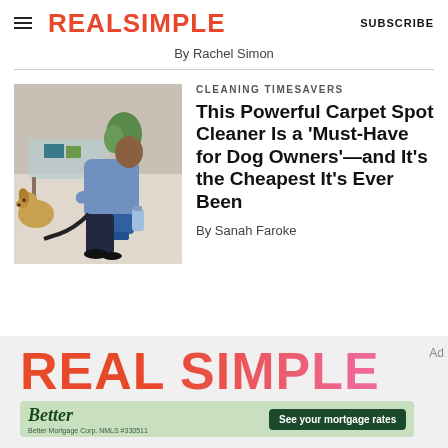REAL SIMPLE | SUBSCRIBE
By Rachel Simon
CLEANING TIMESAVERS
This Powerful Carpet Spot Cleaner Is a 'Must-Have for Dog Owners'—and It's the Cheapest It's Ever Been
By Sanah Faroke
[Figure (photo): Person cleaning carpet with a handheld spot cleaner, dog visible in background]
[Figure (logo): Real Simple advertisement logo in coral/pink gradient with 'Ad' label and Better Mortgage advertisement below]